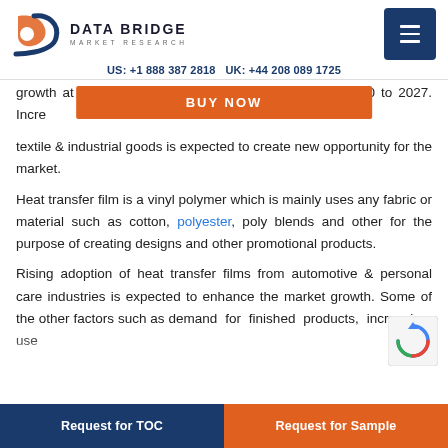Data Bridge Market Research | US: +1 888 387 2818 UK: +44 208 089 1725
growth at a rate of 5.80% for the forecast period of 2020 to 2027. Increasing application of heat transfer film in textile & industrial goods is expected to create new opportunity for the market.
Heat transfer film is a vinyl polymer which is mainly uses any fabric or material such as cotton, polyester, poly blends and other for the purpose of creating designs and other promotional products.
Rising adoption of heat transfer films from automotive & personal care industries is expected to enhance the market growth. Some of the other factors such as demand for finished products, increasing use...
Request for TOC | Request for Sample